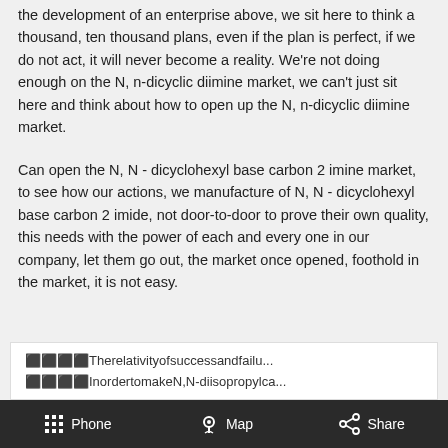the development of an enterprise above, we sit here to think a thousand, ten thousand plans, even if the plan is perfect, if we do not act, it will never become a reality. We're not doing enough on the N, n-dicyclic diimine market, we can't just sit here and think about how to open up the N, n-dicyclic diimine market.
Can open the N, N - dicyclohexyl base carbon 2 imine market, to see how our actions, we manufacture of N, N - dicyclohexyl base carbon 2 imide, not door-to-door to prove their own quality, this needs with the power of each and every one in our company, let them go out, the market once opened, foothold in the market, it is not easy.
🔲🔲🔲🔲Therelativityofsuccessandfailu...
🔲🔲🔲🔲InordertomakeN,N-diisopropylca...
Phone   Map   Share